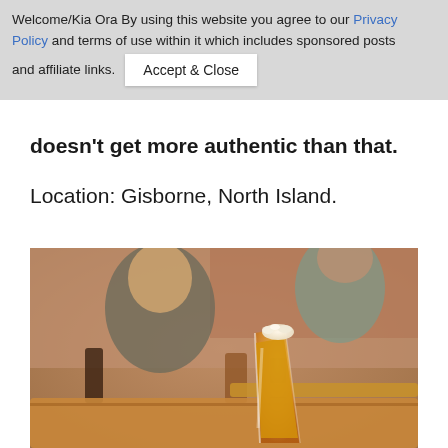Welcome/Kia Ora By using this website you agree to our Privacy Policy and terms of use within it which includes sponsored posts and affiliate links. Accept & Close
doesn't get more authentic than that.
Location: Gisborne, North Island.
[Figure (photo): People sitting at a pub/bar table with glasses of beer including a tall pint glass of lager in the foreground, blurred background with brick wall]